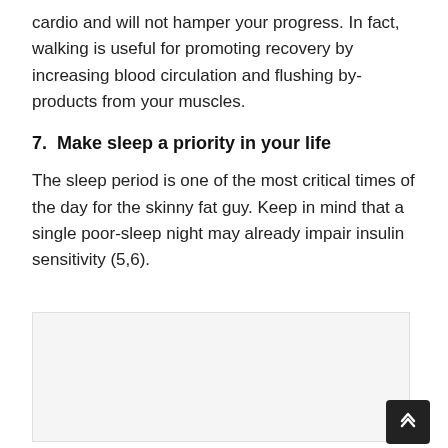cardio and will not hamper your progress. In fact, walking is useful for promoting recovery by increasing blood circulation and flushing by-products from your muscles.
7.  Make sleep a priority in your life
The sleep period is one of the most critical times of the day for the skinny fat guy. Keep in mind that a single poor-sleep night may already impair insulin sensitivity (5,6).
[Figure (photo): A light gray placeholder image box representing a photo or illustration related to sleep.]